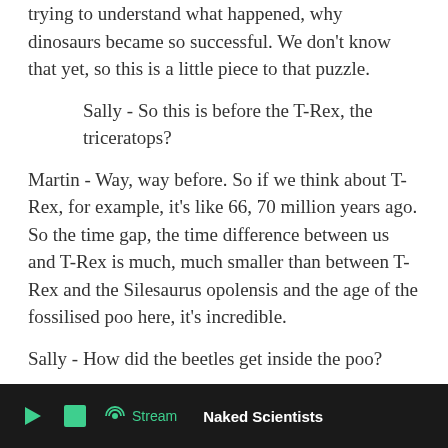trying to understand what happened, why dinosaurs became so successful. We don't know that yet, so this is a little piece to that puzzle.
Sally - So this is before the T-Rex, the triceratops?
Martin - Way, way before. So if we think about T-Rex, for example, it's like 66, 70 million years ago. So the time gap, the time difference between us and T-Rex is much, much smaller than between T-Rex and the Silesaurus opolensis and the age of the fossilised poo here, it's incredible.
Sally - How did the beetles get inside the poo?
Martin - There are two possibilities here - either they entered the poo when it was already laying
Naked Scientists